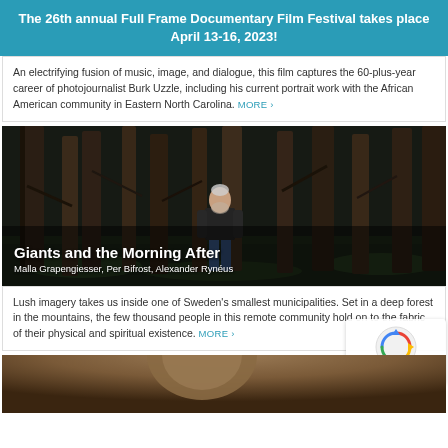The 26th annual Full Frame Documentary Film Festival takes place April 13-16, 2023!
An electrifying fusion of music, image, and dialogue, this film captures the 60-plus-year career of photojournalist Burk Uzzle, including his current portrait work with the African American community in Eastern North Carolina. MORE ›
[Figure (photo): Man standing in a dark forest among tall pine trees. Overlay text reads 'Giants and the Morning After' and 'Malla Grapengiesser, Per Bifrost, Alexander Rynéus']
Lush imagery takes us inside one of Sweden's smallest municipalities. Set in a deep forest in the mountains, the few thousand people in this remote community hold on to the fabric of their physical and spiritual existence. MORE ›
[Figure (photo): Partial image of a person's head at the bottom of the page, visible from the top of the frame]